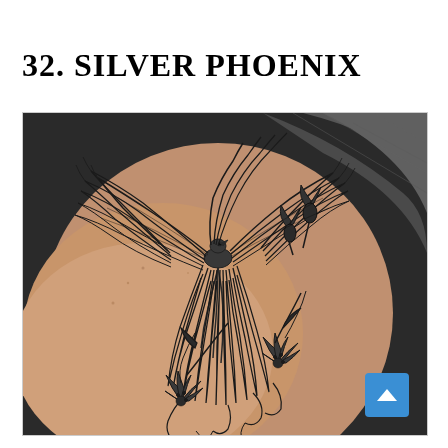32. SILVER PHOENIX
[Figure (photo): A black and grey phoenix tattoo on a person's shoulder/back. The phoenix bird is depicted with large outstretched wings made of long feathers, surrounded by lily flowers with decorative swirling flourishes. The tattoo is detailed and realistic in a black and grey fine-line style.]